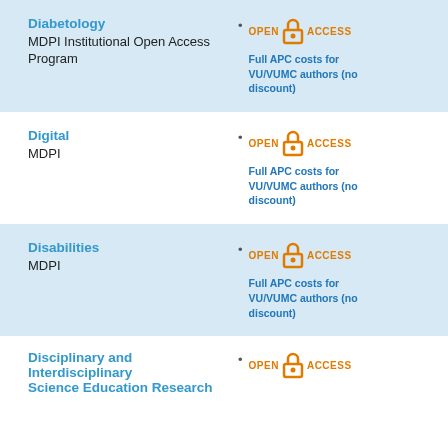Diabetology
MDPI Institutional Open Access Program
Full APC costs for VU/VUMC authors (no discount)
Digital
MDPI
Full APC costs for VU/VUMC authors (no discount)
Disabilities
MDPI
Full APC costs for VU/VUMC authors (no discount)
Disciplinary and Interdisciplinary Science Education Research
OPEN ACCESS